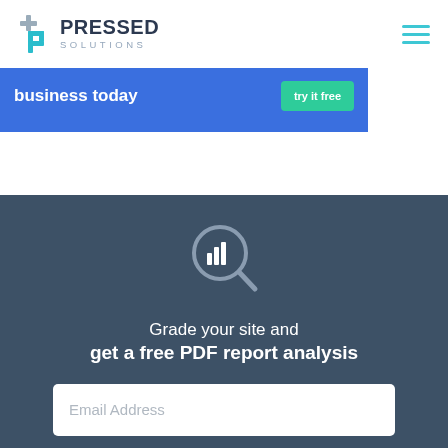[Figure (logo): Pressed Solutions logo with stylized P icon in teal/grey and bold dark text]
[Figure (other): Hamburger menu icon with three teal horizontal lines]
business today
[Figure (other): Green 'Try it free' button on blue CTA banner]
[Figure (other): Magnifying glass with bar chart icon on dark background]
Grade your site and get a free PDF report analysis
Email Address